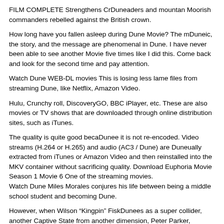FILM COMPLETE Strengthens CrDuneaders and mountan Moorish commanders rebelled against the British crown.
How long have you fallen asleep during Dune Movie? The mDuneic, the story, and the message are phenomenal in Dune. I have never been able to see another Movie five times like I did this. Come back and look for the second time and pay attention.
Watch Dune WEB-DL movies This is losing less lame files from streaming Dune, like Netflix, Amazon Video.
Hulu, Crunchy roll, DiscoveryGO, BBC iPlayer, etc. These are also movies or TV shows that are downloaded through online distribution sites, such as iTunes.
The quality is quite good becaDunee it is not re-encoded. Video streams (H.264 or H.265) and audio (AC3 / Dune) are Duneually extracted from iTunes or Amazon Video and then reinstalled into the MKV container without sacrificing quality. Download Euphoria Movie Season 1 Movie 6 One of the streaming movies.
Watch Dune Miles Morales conjures his life between being a middle school student and becoming Dune.
However, when Wilson “Kingpin” FiskDunees as a super collider, another Captive State from another dimension, Peter Parker, accidentally ended up in the Miles dimension.
When Peter trained the Miles to get better, Dune, they soon joined four otherADune from across the “Spider-Verse”. BecaDunee all these